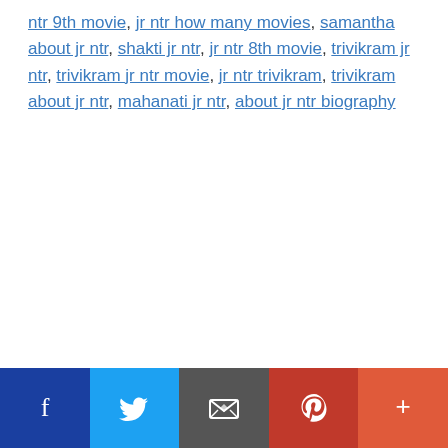ntr 9th movie, jr ntr how many movies, samantha about jr ntr, shakti jr ntr, jr ntr 8th movie, trivikram jr ntr, trivikram jr ntr movie, jr ntr trivikram, trivikram about jr ntr, mahanati jr ntr, about jr ntr biography
[Figure (infographic): Social sharing bar with Facebook, Twitter, Email, Pinterest, and More buttons]